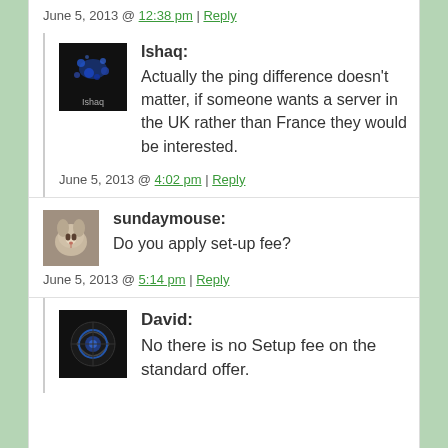June 5, 2013 @ 12:38 pm | Reply
Ishaq: Actually the ping difference doesn’t matter, if someone wants a server in the UK rather than France they would be interested.
June 5, 2013 @ 4:02 pm | Reply
sundaymouse: Do you apply set-up fee?
June 5, 2013 @ 5:14 pm | Reply
David: No there is no Setup fee on the standard offer.